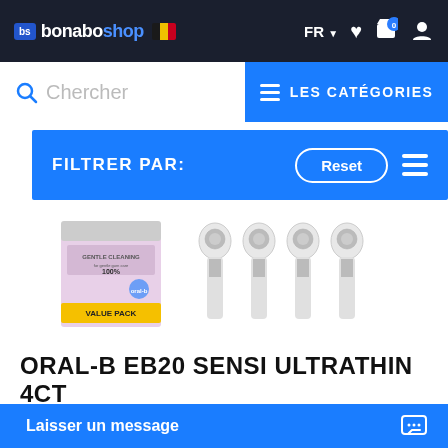[Figure (screenshot): Bonoboshop website navbar with logo, Belgian flag, FR language selector, heart icon, cart icon (0), and user icon on dark background]
[Figure (screenshot): Search bar with magnifier icon and 'Chercher' placeholder, and blue 'LES CATÉGORIES' button with hamburger menu]
[Figure (screenshot): Blue filter bar with 'FILTRER PAR:' text, Reset button, and hamburger icon]
[Figure (photo): Oral-B EB20 Sensi Ultrathin 4CT product image showing packaging box and 4 replacement toothbrush heads]
ORAL-B EB20 SENSI ULTRATHIN 4CT
[Figure (screenshot): Blue 'Laisser un message' chat button at bottom with chat icon]